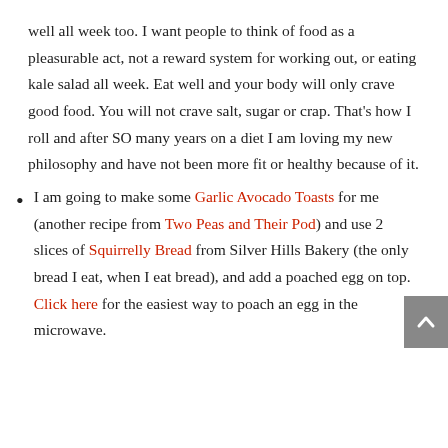well all week too. I want people to think of food as a pleasurable act, not a reward system for working out, or eating kale salad all week. Eat well and your body will only crave good food. You will not crave salt, sugar or crap. That's how I roll and after SO many years on a diet I am loving my new philosophy and have not been more fit or healthy because of it.
I am going to make some Garlic Avocado Toasts for me (another recipe from Two Peas and Their Pod) and use 2 slices of Squirrelly Bread from Silver Hills Bakery (the only bread I eat, when I eat bread), and add a poached egg on top. Click here for the easiest way to poach an egg in the microwave.